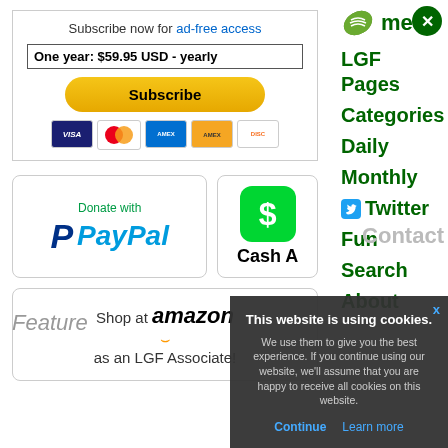Subscribe now for ad-free access
One year: $59.95 USD - yearly
Subscribe
[Figure (logo): Payment card icons: VISA, Mastercard, American Express, Discover]
[Figure (logo): Donate with PayPal button]
[Figure (logo): Cash App icon with dollar sign]
Cash A
[Figure (logo): Shop at amazon as an LGF Associate!]
Featured
me
LGF Pages
Categories
Daily
Monthly
Twitter
Fun
Search
About
Contact
This website is using cookies.
We use them to give you the best experience. If you continue using our website, we'll assume that you are happy to receive all cookies on this website.
Continue
Learn more